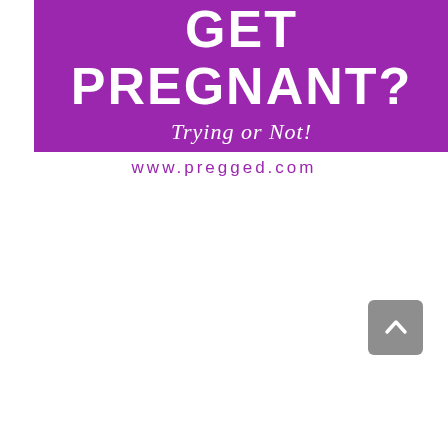[Figure (other): Purple banner with large white bold uppercase text 'GET PREGNANT?' and italic subtitle 'Trying or Not!']
www.pregged.com